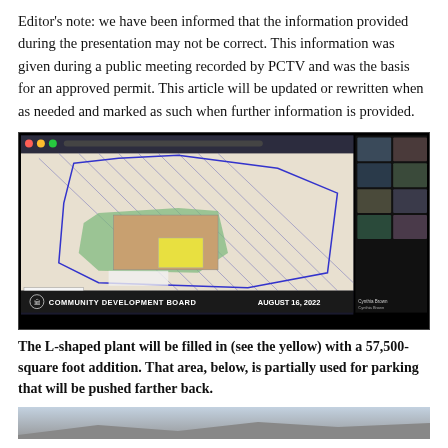Editor's note: we have been informed that the information provided during the presentation may not be correct. This information was given during a public meeting recorded by PCTV and was the basis for an approved permit. This article will be updated or rewritten when as needed and marked as such when further information is provided.
[Figure (screenshot): Screenshot of a Community Development Board meeting on August 16, 2022, showing a site plan with an L-shaped building footprint, with participants visible in a video grid on the right side.]
The L-shaped plant will be filled in (see the yellow) with a 57,500-square foot addition. That area, below, is partially used for parking that will be pushed farther back.
[Figure (photo): Bottom portion of an outdoor photo, partially visible, showing sky and structure.]